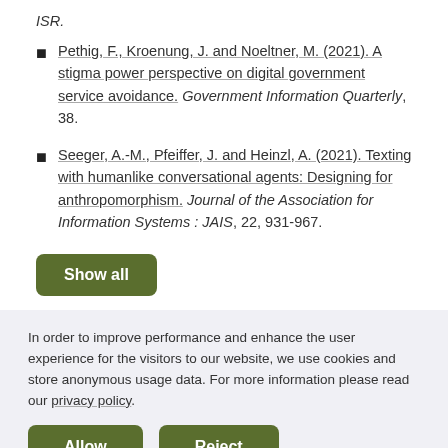ISR.
Pethig, F., Kroenung, J. and Noeltner, M. (2021). A stigma power perspective on digital government service avoidance. Government Information Quarterly, 38.
Seeger, A.-M., Pfeiffer, J. and Heinzl, A. (2021). Texting with humanlike conversational agents: Designing for anthropomorphism. Journal of the Association for Information Systems : JAIS, 22, 931-967.
Show all
In order to improve performance and enhance the user experience for the visitors to our website, we use cookies and store anonymous usage data. For more information please read our privacy policy.
Allow
Reject